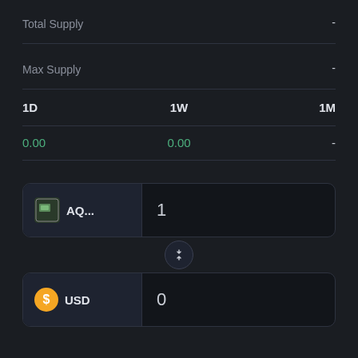Total Supply  -
Max Supply  -
| 1D | 1W | 1M |
| --- | --- | --- |
| 0.00 | 0.00 | - |
[Figure (screenshot): Currency swap widget showing AQ... token with value 1 and USD with value 0, with a swap arrows button between them]